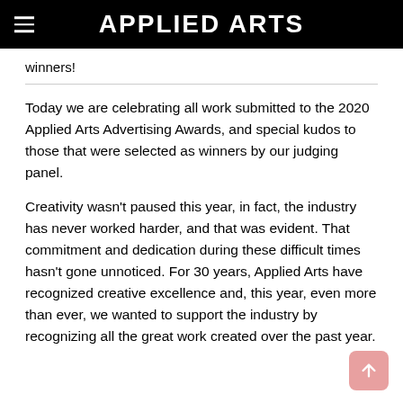APPLIED ARTS
winners!
Today we are celebrating all work submitted to the 2020 Applied Arts Advertising Awards, and special kudos to those that were selected as winners by our judging panel.
Creativity wasn't paused this year, in fact, the industry has never worked harder, and that was evident. That commitment and dedication during these difficult times hasn't gone unnoticed. For 30 years, Applied Arts have recognized creative excellence and, this year, even more than ever, we wanted to support the industry by recognizing all the great work created over the past year.